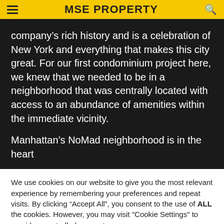MSE PROPERTY
company’s rich history and is a celebration of New York and everything that makes this city great. For our first condominium project here, we knew that we needed to be in a neighborhood that was centrally located with access to an abundance of amenities within the immediate vicinity.

Manhattan’s NoMad neighborhood is in the heart
We use cookies on our website to give you the most relevant experience by remembering your preferences and repeat visits. By clicking “Accept All”, you consent to the use of ALL the cookies. However, you may visit "Cookie Settings" to provide a controlled consent.
Cookie Settings   Accept All